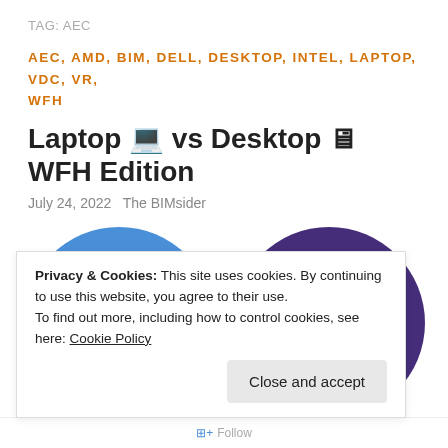TAG: AEC
AEC, AMD, BIM, DELL, DESKTOP, INTEL, LAPTOP, VDC, VR, WFH
Laptop 💻 vs Desktop 🖥 WFH Edition
July 24, 2022   The BIMsider
[Figure (illustration): Two circular illustrations side by side: left shows a person in a red hoodie sitting with a laptop on a blue background; right shows a desktop computer setup on a dark purple background.]
Privacy & Cookies: This site uses cookies. By continuing to use this website, you agree to their use.
To find out more, including how to control cookies, see here: Cookie Policy
Close and accept